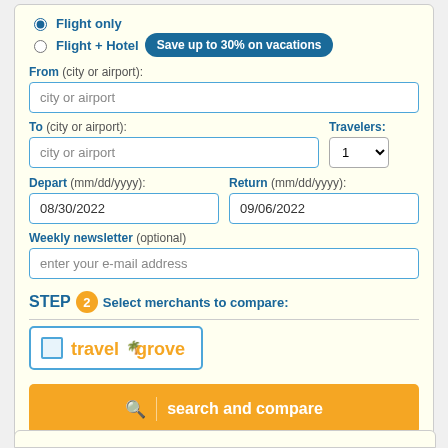Flight only (radio button, selected)
Flight + Hotel   Save up to 30% on vacations
From (city or airport): [input: city or airport]
To (city or airport): [input: city or airport]   Travelers: [select: 1]
Depart (mm/dd/yyyy): [input: 08/30/2022]   Return (mm/dd/yyyy): [input: 09/06/2022]
Weekly newsletter (optional) [input: enter your e-mail address]
STEP 2 Select merchants to compare:
[Figure (logo): Travelgrove logo with checkbox]
search and compare [button]